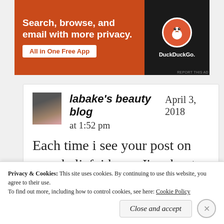[Figure (screenshot): DuckDuckGo advertisement banner with orange background, text 'Search, browse, and email with more privacy. All in One Free App' and DuckDuckGo logo on dark background]
REPORT THIS AD
labake's beauty blog    April 3, 2018
at 1:52 pm
Each time i see your post on your belief, i know I'm about to be blessed... I have
Privacy & Cookies: This site uses cookies. By continuing to use this website, you agree to their use.
To find out more, including how to control cookies, see here: Cookie Policy
Close and accept